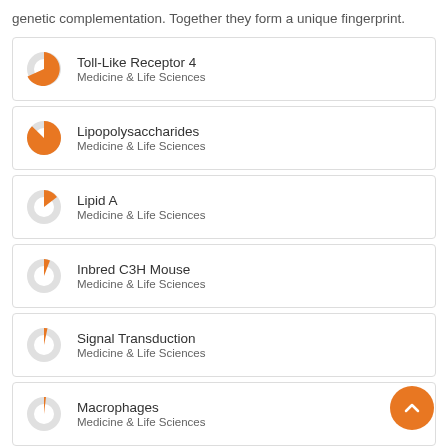genetic complementation. Together they form a unique fingerprint.
Toll-Like Receptor 4 — Medicine & Life Sciences
Lipopolysaccharides — Medicine & Life Sciences
Lipid A — Medicine & Life Sciences
Inbred C3H Mouse — Medicine & Life Sciences
Signal Transduction — Medicine & Life Sciences
Macrophages — Medicine & Life Sciences